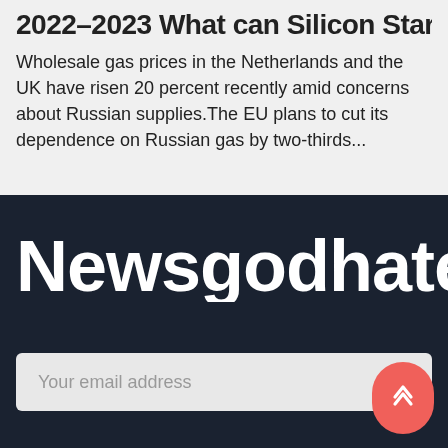2022-2023 What can Silicon Startups D...
Wholesale gas prices in the Netherlands and the UK have risen 20 percent recently amid concerns about Russian supplies.The EU plans to cut its dependence on Russian gas by two-thirds...
Newsgodhatesthi
Your email address